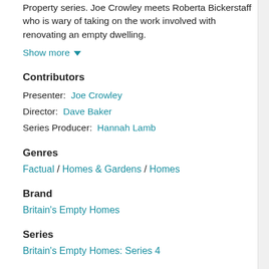Property series. Joe Crowley meets Roberta Bickerstaff who is wary of taking on the work involved with renovating an empty dwelling.
Show more ▼
Contributors
Presenter:  Joe Crowley
Director:  Dave Baker
Series Producer:  Hannah Lamb
Genres
Factual / Homes & Gardens / Homes
Brand
Britain's Empty Homes
Series
Britain's Empty Homes: Series 4
Source: BBC Online ?